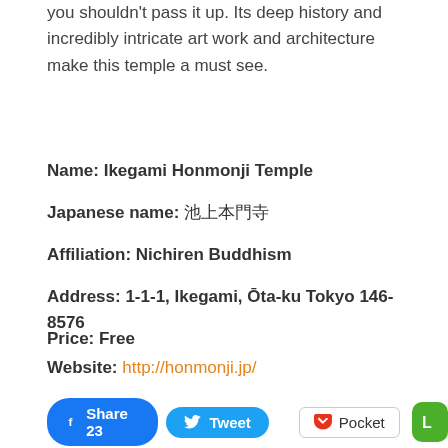you shouldn't pass it up. Its deep history and incredibly intricate art work and architecture make this temple a must see.
Name: Ikegami Honmonji Temple
Japanese name: 池上本門寺
Affiliation: Nichiren Buddhism
Address: 1-1-1, Ikegami, Ōta-ku Tokyo 146-8576
Price: Free
Website: http://honmonji.jp/
[Figure (screenshot): Social sharing buttons: Facebook Share 23, Tweet, Pocket, LINE]